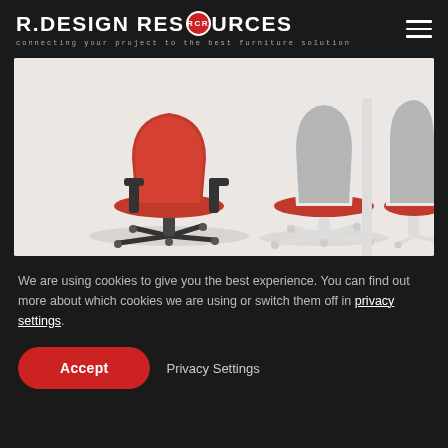R.DESIGN RESOURCES — connecting your project to the best furniture solution
[Figure (photo): Three modern office chairs on a white background. Left chair has red/orange upholstery with black frame and casters. Center chair has a white shell with grey back and red seat. Right chair partially visible with white frame and red seat.]
We are using cookies to give you the best experience. You can find out more about which cookies we are using or switch them off in privacy settings.
Accept
Privacy Settings